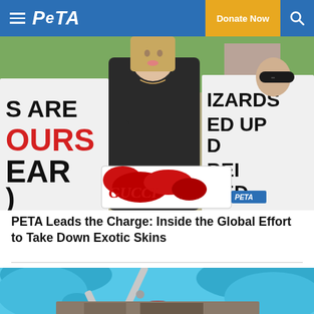PETA — Donate Now
[Figure (photo): Woman holding a fake blood-splattered Gucci bag at a PETA protest, with signs reading 'lizards are killed', 'HOURS TO WEAR' in background]
PETA Leads the Charge: Inside the Global Effort to Take Down Exotic Skins
[Figure (illustration): Cartoon illustration of blue gloved hands holding scissors over a surface with red blood marks]